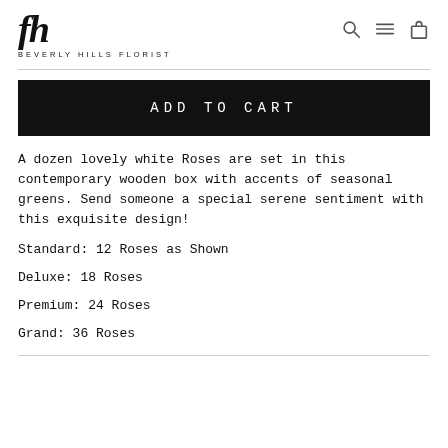BEVERLY HILLS FLORIST
ADD TO CART
A dozen lovely white Roses are set in this contemporary wooden box with accents of seasonal greens. Send someone a special serene sentiment with this exquisite design!
Standard: 12 Roses as Shown
Deluxe: 18 Roses
Premium: 24 Roses
Grand: 36 Roses